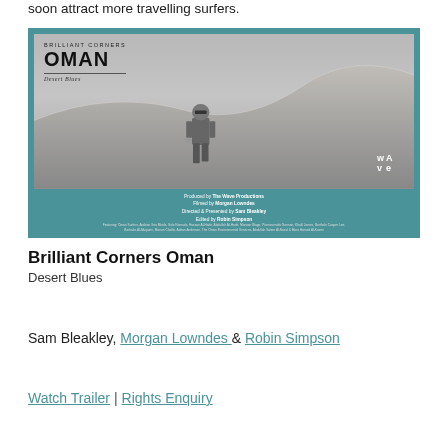soon attract more travelling surfers.
[Figure (photo): Film poster for 'Brilliant Corners Oman – Desert Blues'. Black and white photo of a man walking on desert dunes. Produced by The Wave Productions, Filmed by Morgan Lowndes, Directed & Presented by Sam Bleakley, Edited by Robin Simpson. Teal/turquoise border with Wave logo.]
Brilliant Corners Oman
Desert Blues
Sam Bleakley, Morgan Lowndes & Robin Simpson
Watch Trailer | Rights Enquiry